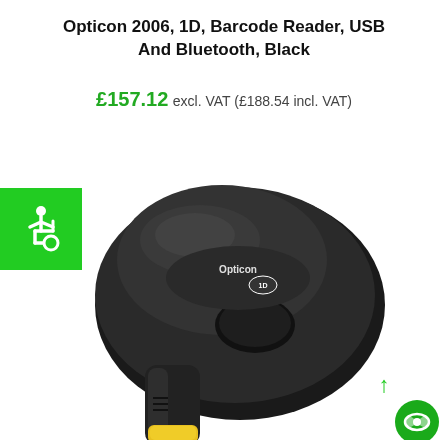Opticon 2006, 1D, Barcode Reader, USB And Bluetooth, Black
£157.12 excl. VAT (£188.54 incl. VAT)
[Figure (photo): Black handheld 1D barcode scanner (Opticon 2006) with Bluetooth and USB connectivity, shown at an angle. A green accessibility wheelchair icon badge is overlaid on the top-left. A green scroll-to-top arrow and a green circular chat button appear in the bottom-right corner.]